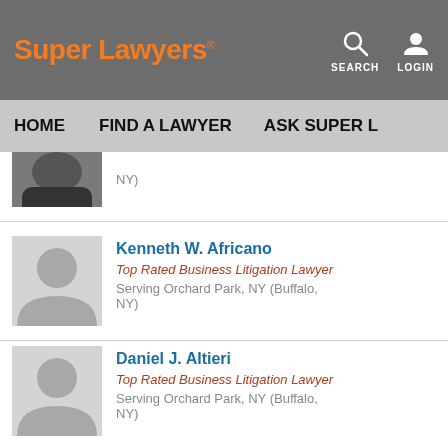Super Lawyers — SEARCH LOGIN
HOME   FIND A LAWYER   ASK SUPER L
NY)
Kenneth W. Africano
Top Rated Business Litigation Lawyer
Serving Orchard Park, NY (Buffalo, NY)
Daniel J. Altieri
Top Rated Business Litigation Lawyer
Serving Orchard Park, NY (Buffalo, NY)